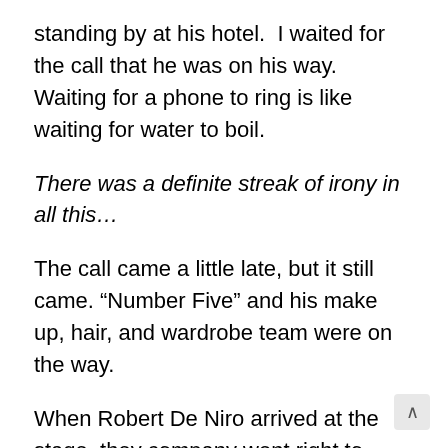standing by at his hotel.  I waited for the call that he was on his way.  Waiting for a phone to ring is like waiting for water to boil.
There was a definite streak of irony in all this…
The call came a little late, but it still came. “Number Five” and his make up, hair, and wardrobe team were on the way.
When Robert De Niro arrived at the stage, they company went right to work.  He came ready and in character, so he sat right in and reclined in the barber chair. The blood was prepared for the effect of the shaving mishap. A clean up f take two was ready to go.